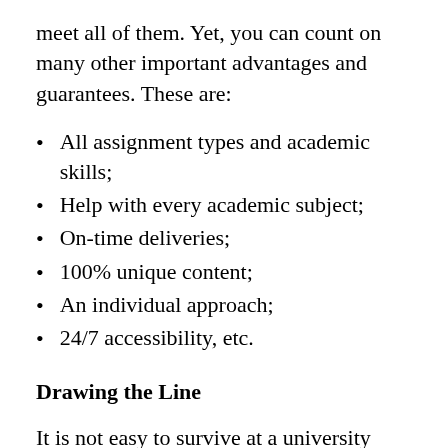meet all of them. Yet, you can count on many other important advantages and guarantees. These are:
All assignment types and academic skills;
Help with every academic subject;
On-time deliveries;
100% unique content;
An individual approach;
24/7 accessibility, etc.
Drawing the Line
It is not easy to survive at a university because of a lot of difficulties. Yet,